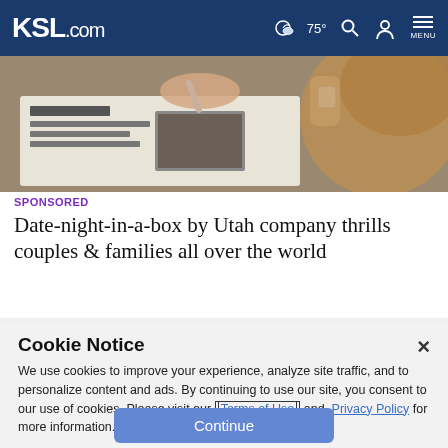KSL.com  75°  Search  Account  MENU
[Figure (photo): Close-up photo of a person writing or drawing on a newspaper/magazine on a table, with a watch visible.]
SPONSORED
Date-night-in-a-box by Utah company thrills couples & families all over the world
[Figure (photo): Outdoor photo showing green grass and trees, with a person visible in the background.]
Cookie Notice
We use cookies to improve your experience, analyze site traffic, and to personalize content and ads. By continuing to use our site, you consent to our use of cookies. Please visit our Terms of Use and  Privacy Policy for more information.
Continue